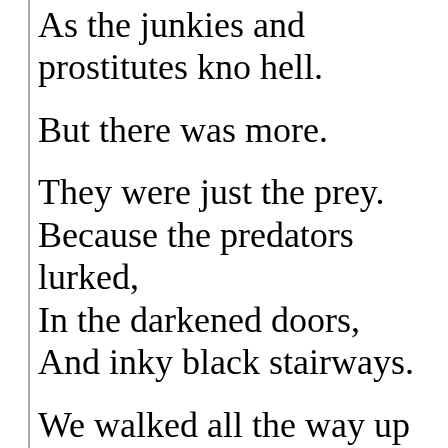As the junkies and prostitutes kno hell.
But there was more.
They were just the prey.
Because the predators lurked,
In the darkened doors,
And inky black stairways.
We walked all the way up to Surf They were there I knew,
I could feel them inside: